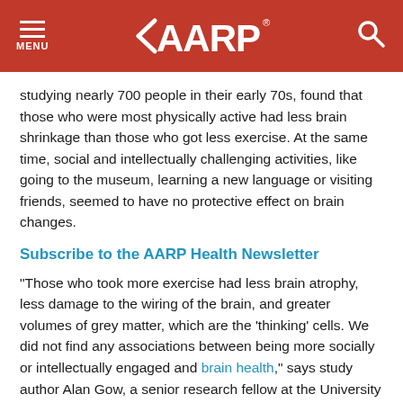MENU  AARP  [search]
studying nearly 700 people in their early 70s, found that those who were most physically active had less brain shrinkage than those who got less exercise. At the same time, social and intellectually challenging activities, like going to the museum, learning a new language or visiting friends, seemed to have no protective effect on brain changes.
Subscribe to the AARP Health Newsletter
"Those who took more exercise had less brain atrophy, less damage to the wiring of the brain, and greater volumes of grey matter, which are the 'thinking' cells. We did not find any associations between being more socially or intellectually engaged and brain health," says study author Alan Gow, a senior research fellow at the University of Edinburgh.